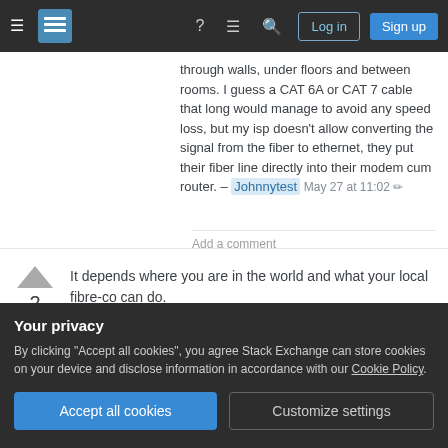Stack Exchange navigation bar with hamburger menu, logo, help, chat, search, Log in, Sign up buttons
through walls, under floors and between rooms. I guess a CAT 6A or CAT 7 cable that long would manage to avoid any speed loss, but my isp doesn't allow converting the signal from the fiber to ethernet, they put their fiber line directly into their modem cum router. – Johnnytest May 27 at 11:02
Add a comment
It depends where you are in the world and what your local fibre-co can do.
Contact your area's fibre-provider/company and
Your privacy
By clicking "Accept all cookies", you agree Stack Exchange can store cookies on your device and disclose information in accordance with our Cookie Policy.
Accept all cookies
Customize settings
dedicated fibre ISP.